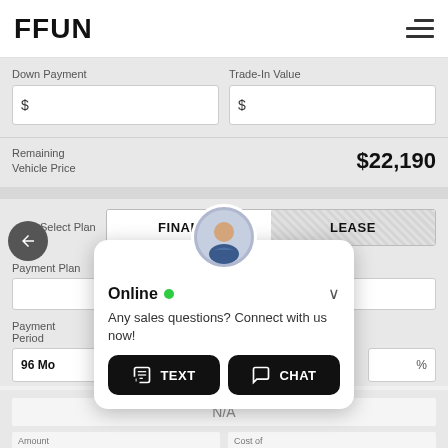FFUN
Down Payment
Trade-In Value
Remaining Vehicle Price  $22,190
Select Plan  FINANCE  LEASE
Payment Plan
96 Mo  %
N/A
Amount Financed  $22,190  Cost of  N/A
[Figure (screenshot): Online chat popup widget with avatar, green online indicator, text and chat buttons]